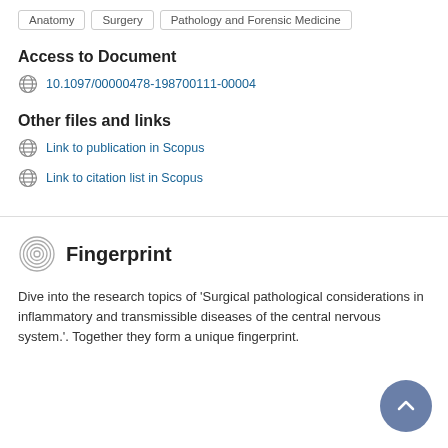Anatomy
Surgery
Pathology and Forensic Medicine
Access to Document
10.1097/00000478-198700111-00004
Other files and links
Link to publication in Scopus
Link to citation list in Scopus
Fingerprint
Dive into the research topics of 'Surgical pathological considerations in inflammatory and transmissible diseases of the central nervous system.'. Together they form a unique fingerprint.